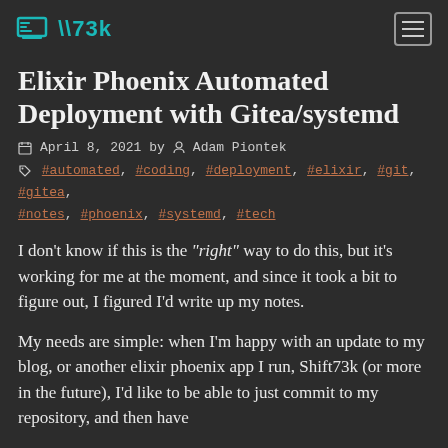□\\73k
Elixir Phoenix Automated Deployment with Gitea/systemd
April 8, 2021 by Adam Piontek
#automated, #coding, #deployment, #elixir, #git, #gitea, #notes, #phoenix, #systemd, #tech
I don't know if this is the "right" way to do this, but it's working for me at the moment, and since it took a bit to figure out, I figured I'd write up my notes.
My needs are simple: when I'm happy with an update to my blog, or another elixir phoenix app I run, Shift73k (or more in the future), I'd like to be able to just commit to my repository, and then have